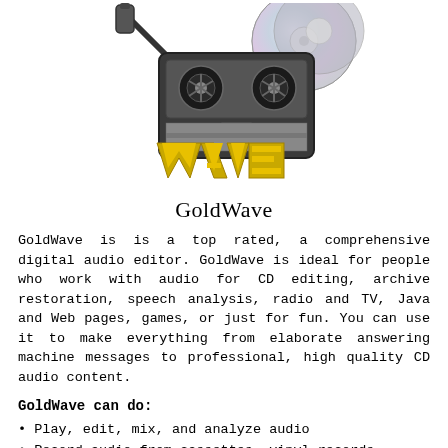[Figure (logo): GoldWave logo: cassette tape with microphone cable and CDs above, and stylized gold WAVE text below]
GoldWave
GoldWave is is a top rated, a comprehensive digital audio editor. GoldWave is ideal for people who work with audio for CD editing, archive restoration, speech analysis, radio and TV, Java and Web pages, games, or just for fun. You can use it to make everything from elaborate answering machine messages to professional, high quality CD audio content.
GoldWave can do:
• Play, edit, mix, and analyze audio
• Record audio from cassettes, vinyl records, radio, etc. through